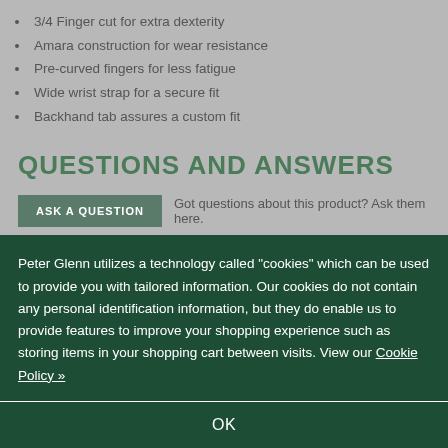3/4 Finger cut for extra dexterity
Amara construction for wear resistance
Pre-curved fingers for less fatigue
Wide wrist strap for a secure fit
Backhand tab assures a custom fit
QUESTIONS AND ANSWERS
ASK A QUESTION   Got questions about this product? Ask them here. Got questions about anything else? Please see our FAQ.
Peter Glenn utilizes a technology called "cookies" which can be used to provide you with tailored information. Our cookies do not contain any personal identification information, but they do enable us to provide features to improve your shopping experience such as storing items in your shopping cart between visits. View our Cookie Policy »
OK